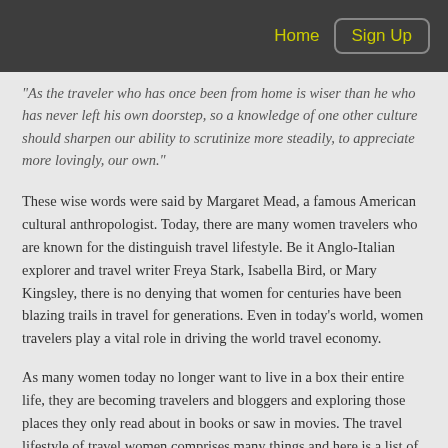Home  Sign Up
“As the traveler who has once been from home is wiser than he who has never left his own doorstep, so a knowledge of one other culture should sharpen our ability to scrutinize more steadily, to appreciate more lovingly, our own.”
These wise words were said by Margaret Mead, a famous American cultural anthropologist. Today, there are many women travelers who are known for the distinguish travel lifestyle. Be it Anglo-Italian explorer and travel writer Freya Stark, Isabella Bird, or Mary Kingsley, there is no denying that women for centuries have been blazing trails in travel for generations. Even in today’s world, women travelers play a vital role in driving the world travel economy.
As many women today no longer want to live in a box their entire life, they are becoming travelers and bloggers and exploring those places they only read about in books or saw in movies. The travel lifestyle of travel women comprises many things and here is a list of a few things that make